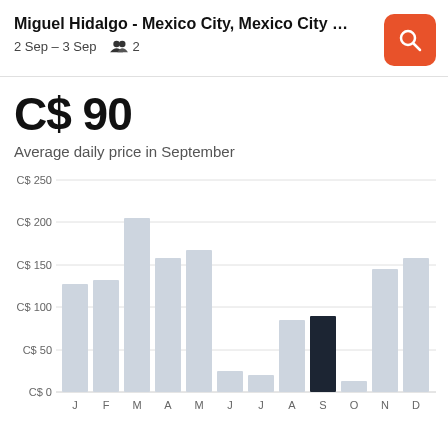Miguel Hidalgo - Mexico City, Mexico City Fe...
2 Sep – 3 Sep   👥 2
C$ 90
Average daily price in September
[Figure (bar-chart): Average daily price by month]